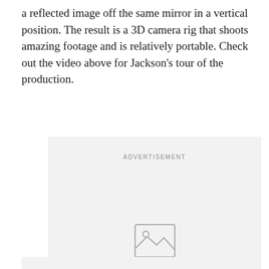a reflected image off the same mirror in a vertical position. The result is a 3D camera rig that shoots amazing footage and is relatively portable. Check out the video above for Jackson's tour of the production.
[Figure (other): Advertisement placeholder box with image icon in the center]